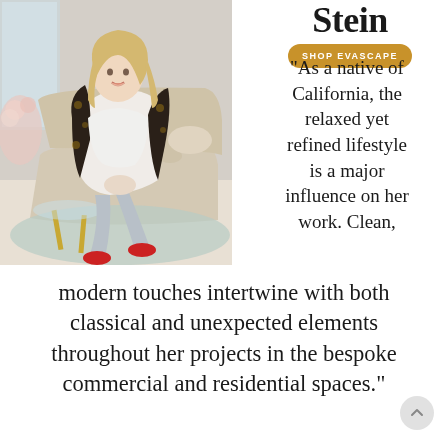[Figure (photo): Woman with blonde hair wearing a floral blazer over white top and light grey pants with red heels, seated on a beige tufted sofa in an elegant interior setting with a glass coffee table and pink floral arrangement]
Stein
SHOP EVASCAPE
“As a native of California, the relaxed yet refined lifestyle is a major influence on her work. Clean, modern touches intertwine with both classical and unexpected elements throughout her projects in the bespoke commercial and residential spaces.”